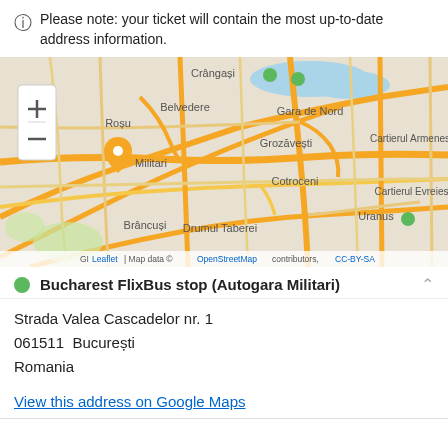Please note: your ticket will contain the most up-to-date address information.
[Figure (map): Street map of Bucharest area showing Militari, Crângași, Belvedere, Gara de Nord, Grozăvești, Cotroceni, Cartierul Armenesc, Cartierul Evreiesc, Uranus, Brâncuși, Drumul Taberei neighborhoods. An orange location pin marker is shown near Militari. Green dots indicate FlixBus stops. Map attribution: GI Leaflet | Map data © OpenStreetMap contributors, CC-BY-SA]
Bucharest FlixBus stop (Autogara Militari)
Strada Valea Cascadelor nr. 1
061511  București
Romania
View this address on Google Maps